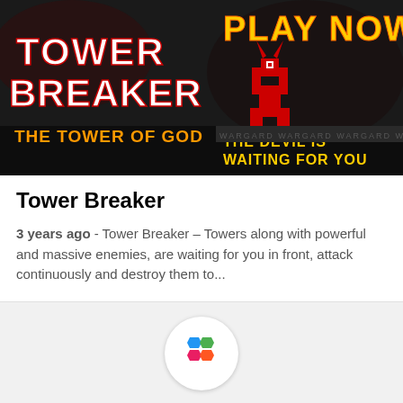[Figure (screenshot): Tower Breaker game banner with dark background, red demon character, text: TOWER BREAKER, THE TOWER OF GOD, PLAY NOW, THE DEVIL IS WAITING FOR YOU]
Tower Breaker
3 years ago - Tower Breaker – Towers along with powerful and massive enemies, are waiting for you in front, attack continuously and destroy them to...
[Figure (logo): Colorful hexagon logo with blue, green, pink/red pieces forming a puzzle shape on white circle background]
ABOUT 1CIO